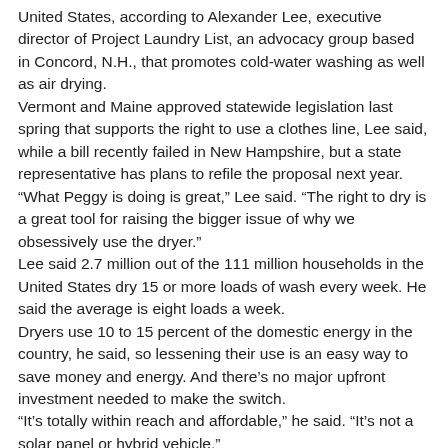United States, according to Alexander Lee, executive director of Project Laundry List, an advocacy group based in Concord, N.H., that promotes cold-water washing as well as air drying.
Vermont and Maine approved statewide legislation last spring that supports the right to use a clothes line, Lee said, while a bill recently failed in New Hampshire, but a state representative has plans to refile the proposal next year.
“What Peggy is doing is great,” Lee said. “The right to dry is a great tool for raising the bigger issue of why we obsessively use the dryer.”
Lee said 2.7 million out of the 111 million households in the United States dry 15 or more loads of wash every week. He said the average is eight loads a week.
Dryers use 10 to 15 percent of the domestic energy in the country, he said, so lessening their use is an easy way to save money and energy. And there’s no major upfront investment needed to make the switch.
“It’s totally within reach and affordable,” he said. “It’s not a solar panel or hybrid vehicle.”
While the movement is gaining momentum, Brace said, she realizes that her work is cut out for her.